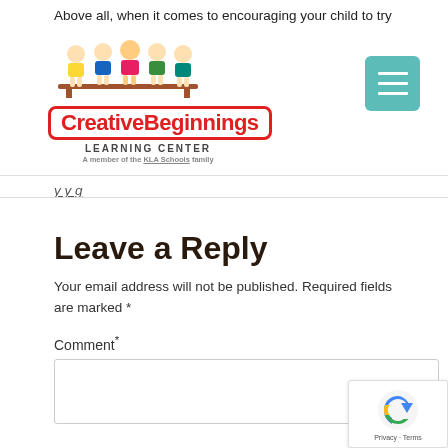Above all, when it comes to encouraging your child to try
[Figure (logo): Creative Beginnings Learning Center logo with cartoon children sitting on a bench above the text, red bordered logo text, and KLA Schools family tagline]
[Figure (other): Teal hamburger menu button with three white horizontal bars]
y y g
Leave a Reply
Your email address will not be published. Required fields are marked *
Comment *